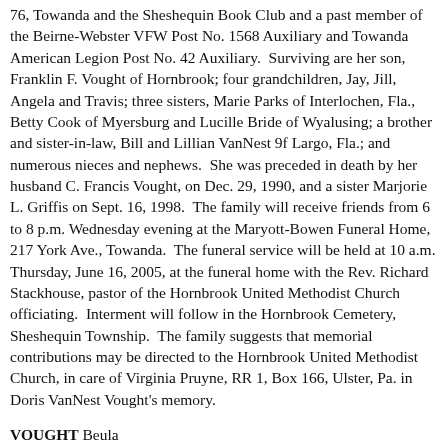76, Towanda and the Sheshequin Book Club and a past member of the Beirne-Webster VFW Post No. 1568 Auxiliary and Towanda American Legion Post No. 42 Auxiliary.  Surviving are her son, Franklin F. Vought of Hornbrook; four grandchildren, Jay, Jill, Angela and Travis; three sisters, Marie Parks of Interlochen, Fla., Betty Cook of Myersburg and Lucille Bride of Wyalusing; a brother and sister-in-law, Bill and Lillian VanNest 9f Largo, Fla.; and numerous nieces and nephews.  She was preceded in death by her husband C. Francis Vought, on Dec. 29, 1990, and a sister Marjorie L. Griffis on Sept. 16, 1998.  The family will receive friends from 6 to 8 p.m. Wednesday evening at the Maryott-Bowen Funeral Home, 217 York Ave., Towanda.  The funeral service will be held at 10 a.m. Thursday, June 16, 2005, at the funeral home with the Rev. Richard Stackhouse, pastor of the Hornbrook United Methodist Church officiating.  Interment will follow in the Hornbrook Cemetery, Sheshequin Township.  The family suggests that memorial contributions may be directed to the Hornbrook United Methodist Church, in care of Virginia Pruyne, RR 1, Box 166, Ulster, Pa. in Doris VanNest Vought's memory.
VOUGHT Beula
12/28/2007 Sayre Morning Times
Beula Vought McLafferty, 95, widow of David E. McLafferty, formerly of Hornbrook, Towanda RR 5, died Wednesday, Dec. 26, 2007 at the Skilled Nursing Unit of Memorial Hospital, N. Towanda. Born May 11, 1912 in Hornbrook, she was the...